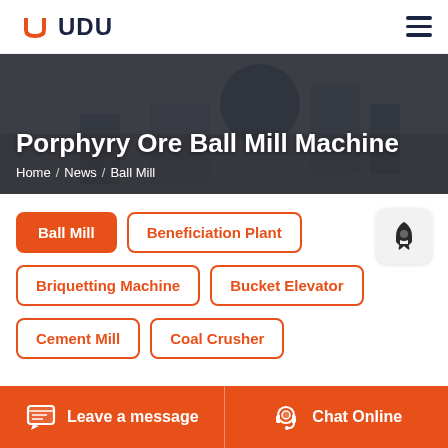[Figure (logo): UDU brand logo with orange U icon and dark blue UDU text]
Porphyry Ore Ball Mill Machine
Home / News / Ball Mill
Ball Mill
Beneficiation Plant
Briquetting Machine
Bucket Elevator
Cement Mill
Coal Crusher
Leave a message
Chat Online